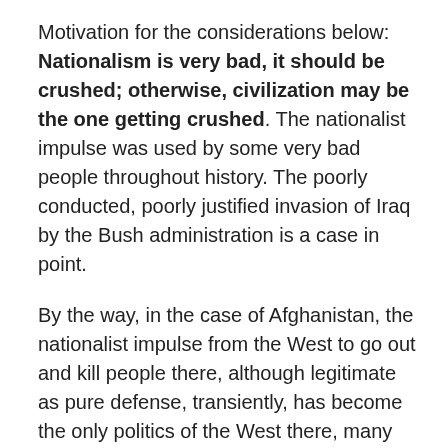Motivation for the considerations below: Nationalism is very bad, it should be crushed; otherwise, civilization may be the one getting crushed. The nationalist impulse was used by some very bad people throughout history. The poorly conducted, poorly justified invasion of Iraq by the Bush administration is a case in point.
By the way, in the case of Afghanistan, the nationalist impulse from the West to go out and kill people there, although legitimate as pure defense, transiently, has become the only politics of the West there, many years later, still, and de facto, right now, that is VERY wrong. So very wrong that it deserves to fail… as fate will insist.
The West is arguably way less reasonable at this point in Afghanistan than Russia is with Georgia. It is high time to reconsider Afghanistan in a much more supple mental